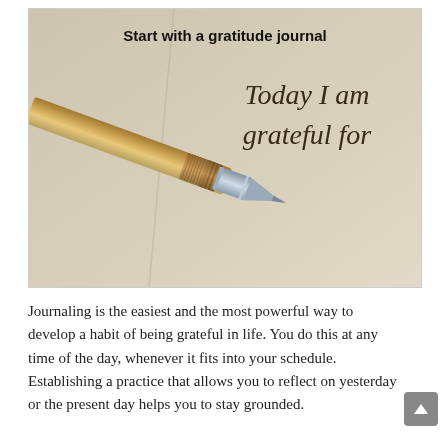[Figure (photo): A close-up photograph of a metallic pen resting against a light beige/cream background (a notebook page), with handwritten-style cursive text reading 'Today I am grateful for' and a bold printed caption at the top reading 'Start with a gratitude journal'.]
Journaling is the easiest and the most powerful way to develop a habit of being grateful in life. You do this at any time of the day, whenever it fits into your schedule. Establishing a practice that allows you to reflect on yesterday or the present day helps you to stay grounded.